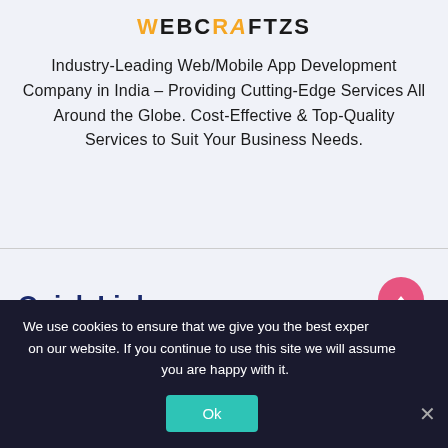WEBCRAFTZS
Industry-Leading Web/Mobile App Development Company in India – Providing Cutting-Edge Services All Around the Globe. Cost-Effective & Top-Quality Services to Suit Your Business Needs.
Quick Links
We use cookies to ensure that we give you the best experience on our website. If you continue to use this site we will assume that you are happy with it.